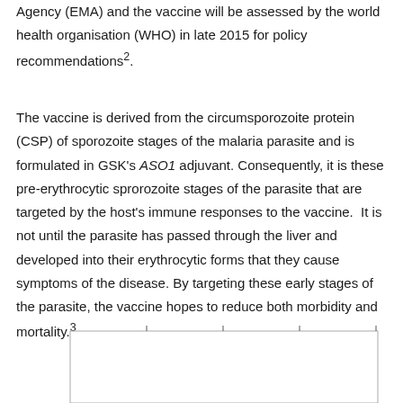Agency (EMA) and the vaccine will be assessed by the world health organisation (WHO) in late 2015 for policy recommendations².
The vaccine is derived from the circumsporozoite protein (CSP) of sporozoite stages of the malaria parasite and is formulated in GSK's ASO1 adjuvant. Consequently, it is these pre-erythrocytic sprorozoite stages of the parasite that are targeted by the host's immune responses to the vaccine. It is not until the parasite has passed through the liver and developed into their erythrocytic forms that they cause symptoms of the disease. By targeting these early stages of the parasite, the vaccine hopes to reduce both morbidity and mortality.³
[Figure (other): Partial view of a chart or figure, only the top border and upper portion visible at the bottom of the page. Tick marks visible along the top edge.]